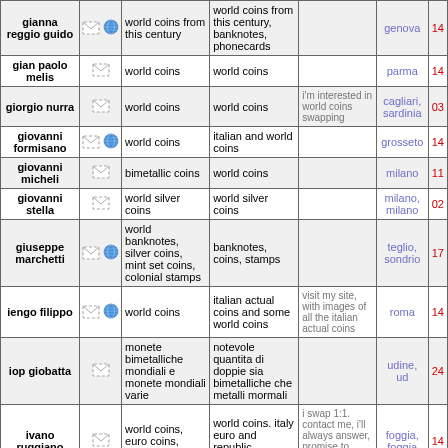| name | icons | collect | swap | notes | city | num |
| --- | --- | --- | --- | --- | --- | --- |
| gianna reggio guido |  | world coins from this century | world coins from this century, banknotes, phonecards |  | genova | 14 |
| gian paolo melis |  | world coins | world coins |  | parma | 14 |
| giorgio nurra |  | world coins | world coins | i'm interested in world coins swapping | cagliari, sardinia | 03 |
| giovanni formisano |  | world coins | italian and world coins |  | grosseto | 14 |
| giovanni micheli |  | bimetallic coins | world coins |  | milano | 11 |
| giovanni stella |  | world silver coins | world silver coins |  | milano, milano | 02 |
| giuseppe marchetti |  | world banknotes, silver coins, mint set coins, colonial stamps | banknotes, coins, stamps |  | teglio, sondrio | 17 |
| iengo filippo |  | world coins | italian actual coins and some world coins | visit my site, with images of all the italian actual coins | roma | 14 |
| iop giobatta |  | monete bimetalliche mondiali e monete mondiali varie | notevole quantita di doppie sia bimetalliche che metalli mormali |  | udine, ud | 24 |
| ivano ruggiano |  | world coins, euro coins, roman coins | world coins. italy euro and republic banknotes | i swap 1:1. contact me, i'll always answer, promise to trade honestly and... | foggia, foggia | 14 |